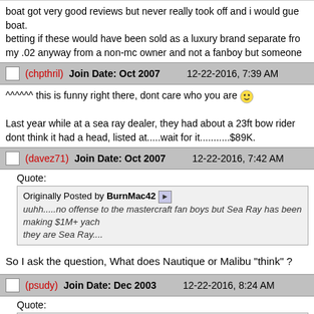boat got very good reviews but never really took off and i would gue boat.
betting if these would have been sold as a luxury brand separate fro
my .02 anyway from a non-mc owner and not a fanboy but someone
(chpthril)   Join Date: Oct 2007   12-22-2016, 7:39 AM
^^^^^^ this is funny right there, dont care who you are

Last year while at a sea ray dealer, they had about a 23ft bow rider
dont think it had a head, listed at.....wait for it...........$89K.
(davez71)   Join Date: Oct 2007   12-22-2016, 7:42 AM
Quote:
Originally Posted by BurnMac42
uuhh.....no offense to the mastercraft fan boys but Sea Ray has been making $1M+ yach
they are Sea Ray....
So I ask the question, What does Nautique or Malibu "think" ?
(psudy)   Join Date: Dec 2003   12-22-2016, 8:24 AM
Quote:
Originally Posted by sandm01
burnmac,
you don't have to think mc is trying to be sea ray. just take a look at the mc300 and you s

boat got very good reviews but never really took off and i would guess the mc dealer netw
betting if these would have been sold as a luxury brand separate from mc with a different
my .02 anyway from a non-mc owner and not a fanboy but someone who can appreciate